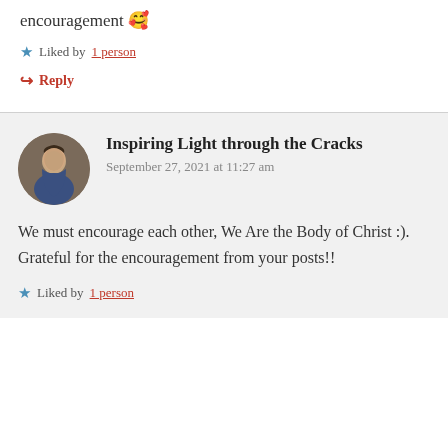encouragement 🥰
Liked by 1 person
Reply
Inspiring Light through the Cracks
September 27, 2021 at 11:27 am
We must encourage each other, We Are the Body of Christ :). Grateful for the encouragement from your posts!!
Liked by 1 person